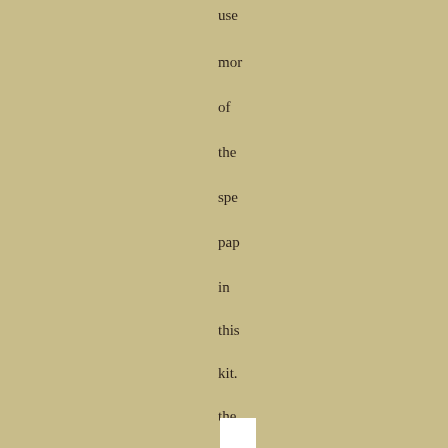use mo of the spe pap in this kit. the bla ove and emb whi pap are both nea nea nea